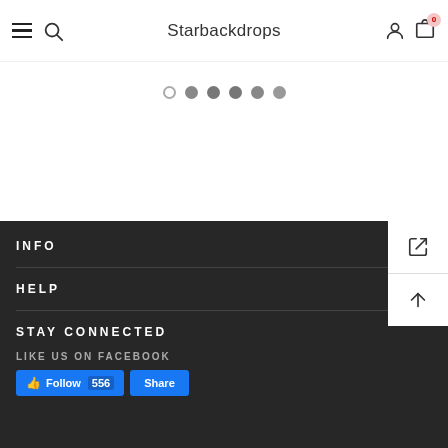Starbackdrops
[Figure (screenshot): Carousel pagination dots - one open circle and five filled grey circles]
INFO
HELP
STAY CONNECTED
LIKE US ON FACEBOOK
[Figure (screenshot): Facebook Follow 556 and Share buttons in blue]